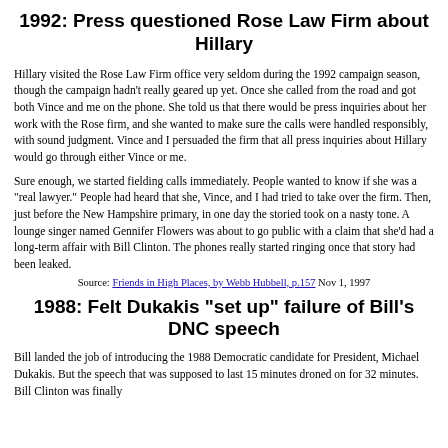1992: Press questioned Rose Law Firm about Hillary
Hillary visited the Rose Law Firm office very seldom during the 1992 campaign season, though the campaign hadn't really geared up yet. Once she called from the road and got both Vince and me on the phone. She told us that there would be press inquiries about her work with the Rose firm, and she wanted to make sure the calls were handled responsibly, with sound judgment. Vince and I persuaded the firm that all press inquiries about Hillary would go through either Vince or me.
Sure enough, we started fielding calls immediately. People wanted to know if she was a "real lawyer." People had heard that she, Vince, and I had tried to take over the firm. Then, just before the New Hampshire primary, in one day the storied took on a nasty tone. A lounge singer named Gennifer Flowers was about to go public with a claim that she'd had a long-term affair with Bill Clinton. The phones really started ringing once that story had been leaked.
Source: Friends in High Places, by Webb Hubbell, p.157 Nov 1, 1997
1988: Felt Dukakis "set up" failure of Bill's DNC speech
Bill landed the job of introducing the 1988 Democratic candidate for President, Michael Dukakis. But the speech that was supposed to last 15 minutes droned on for 32 minutes. Bill Clinton was finally